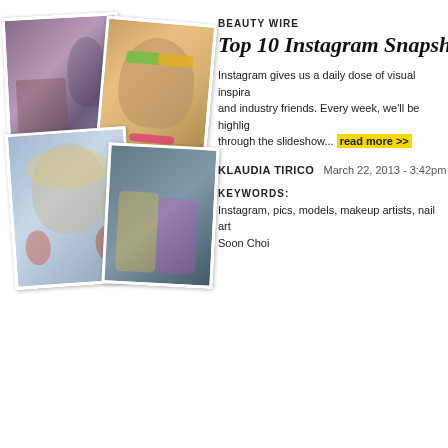[Figure (photo): A collage of Instagram-style photos showing models and makeup looks]
BEAUTY WIRE
Top 10 Instagram Snapsh...
Instagram gives us a daily dose of visual inspiration from our brands and industry friends. Every week, we'll be highlighting... read more >>
KLAUDIA TIRICO   March 22, 2013 - 3:42pm
KEYWORDS:
Instagram, pics, models, makeup artists, nail art... Soon Choi